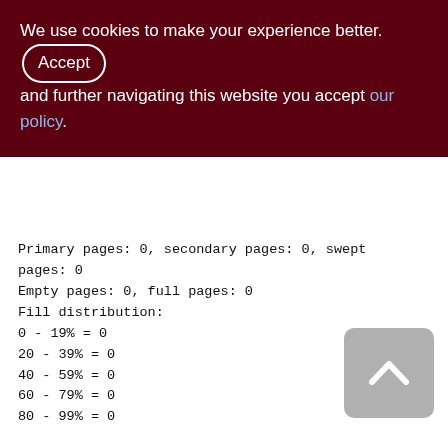We use cookies to make your experience better. By accepting and further navigating this website you accept our policy.
Primary pages: 0, secondary pages: 0, swept pages: 0
Empty pages: 0, full pages: 0
Fill distribution:
0 - 19% = 0
20 - 39% = 0
40 - 59% = 0
60 - 79% = 0
80 - 99% = 0
Index MON_LOG_DTS (4)
Root page: 365, depth: 1, leaf buckets: 1, nodes: 0